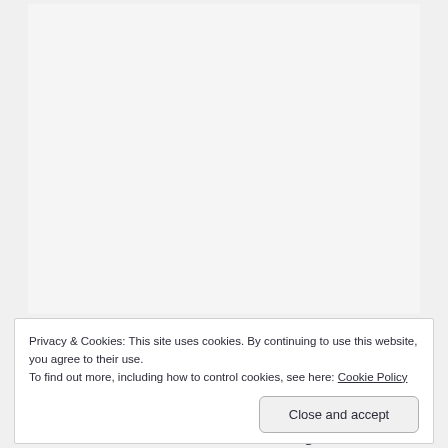[Figure (other): Large light gray blank content area (image or article body placeholder)]
Privacy & Cookies: This site uses cookies. By continuing to use this website, you agree to their use.
To find out more, including how to control cookies, see here: Cookie Policy
Close and accept
Unnatural History